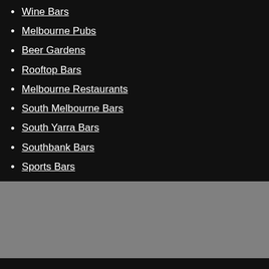Wine Bars
Melbourne Pubs
Beer Gardens
Rooftop Bars
Melbourne Restaurants
South Melbourne Bars
South Yarra Bars
Southbank Bars
Sports Bars
Karaoke Bars